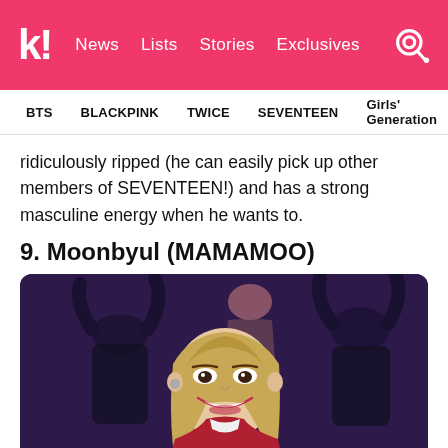k! News  Lists  Stories  Exclusives
BTS  BLACKPINK  TWICE  SEVENTEEN  Girls' Generation
ridiculously ripped (he can easily pick up other members of SEVENTEEN!) and has a strong masculine energy when he wants to.
9. Moonbyul (MAMAMOO)
[Figure (photo): Photo of Moonbyul from MAMAMOO performing on stage, smiling, with blonde hair, wearing a red jacket, with other performers visible in background raising hands]